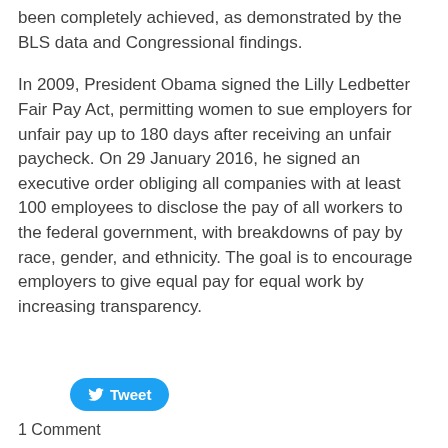been completely achieved, as demonstrated by the BLS data and Congressional findings.
In 2009, President Obama signed the Lilly Ledbetter Fair Pay Act, permitting women to sue employers for unfair pay up to 180 days after receiving an unfair paycheck. On 29 January 2016, he signed an executive order obliging all companies with at least 100 employees to disclose the pay of all workers to the federal government, with breakdowns of pay by race, gender, and ethnicity. The goal is to encourage employers to give equal pay for equal work by increasing transparency.
[Figure (other): Tweet button (Twitter share button with bird logo and 'Tweet' text)]
1 Comment